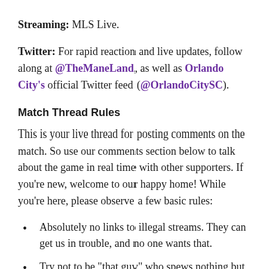Streaming: MLS Live.
Twitter: For rapid reaction and live updates, follow along at @TheManeLand, as well as Orlando City's official Twitter feed (@OrlandoCitySC).
Match Thread Rules
This is your live thread for posting comments on the match. So use our comments section below to talk about the game in real time with other supporters. If you're new, welcome to our happy home! While you're here, please observe a few basic rules:
Absolutely no links to illegal streams. They can get us in trouble, and no one wants that.
Try not to be "that guy" who spews nothing but